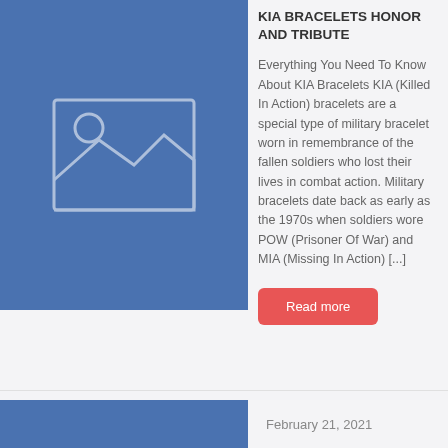[Figure (illustration): Blue placeholder image with mountain/landscape and circle icon]
KIA BRACELETS HONOR AND TRIBUTE
Everything You Need To Know About KIA Bracelets KIA (Killed In Action) bracelets are a special type of military bracelet worn in remembrance of the fallen soldiers who lost their lives in combat action. Military bracelets date back as early as the 1970s when soldiers wore POW (Prisoner Of War) and MIA (Missing In Action) [...]
Read more
February 21, 2021